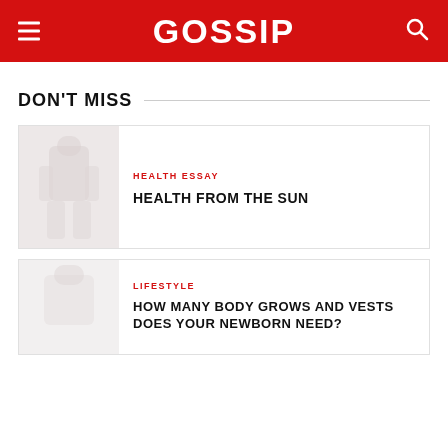GOSSIP
DON'T MISS
HEALTH ESSAY
HEALTH FROM THE SUN
LIFESTYLE
HOW MANY BODY GROWS AND VESTS DOES YOUR NEWBORN NEED?